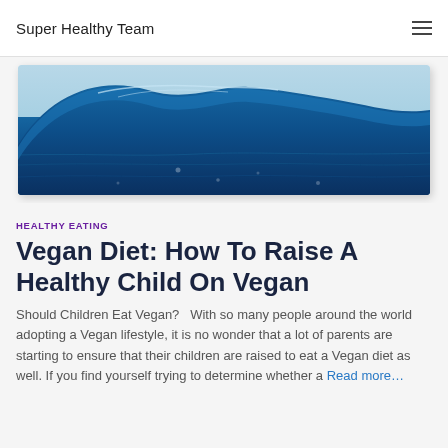Super Healthy Team
[Figure (photo): Close-up photo of blue ocean water surface with ripples and light reflections, viewed from slightly above water level showing the wave crest against a light blue sky background.]
HEALTHY EATING
Vegan Diet: How To Raise A Healthy Child On Vegan
Should Children Eat Vegan?   With so many people around the world adopting a Vegan lifestyle, it is no wonder that a lot of parents are starting to ensure that their children are raised to eat a Vegan diet as well. If you find yourself trying to determine whether a Read more…